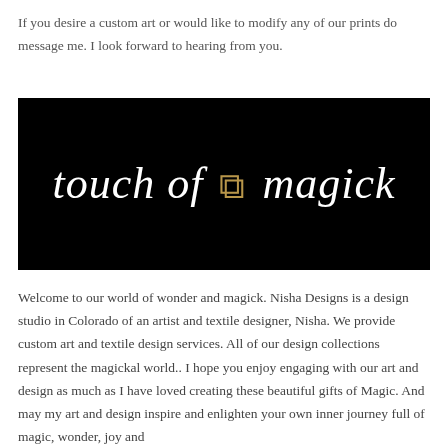If you desire a custom art or would like to modify any of our prints do message me. I look forward to hearing from you.
[Figure (logo): Black banner logo reading 'touch of magick' in white italic script with a gold runic or symbolic character between 'of' and 'magick']
Welcome to our world of wonder and magick. Nisha Designs is a design studio in Colorado of an artist and textile designer, Nisha. We provide custom art and textile design services. All of our design collections represent the magickal world.. I hope you enjoy engaging with our art and design as much as I have loved creating these beautiful gifts of Magic. And may my art and design inspire and enlighten your own inner journey full of magic, wonder, joy and